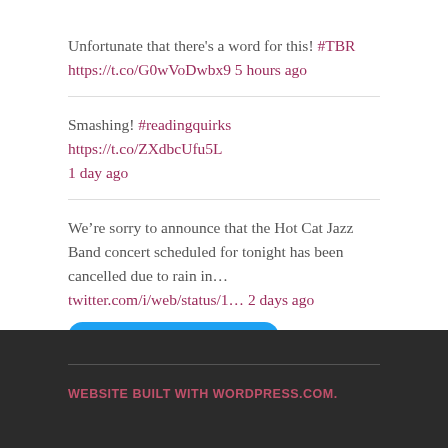Unfortunate that there's a word for this! #TBR https://t.co/G0wVoDwbx9 5 hours ago
Smashing! #readingquirks https://t.co/ZXdbcUfu5L 1 day ago
We’re sorry to announce that the Hot Cat Jazz Band concert scheduled for tonight has been cancelled due to rain in… twitter.com/i/web/status/1… 2 days ago
WEBSITE BUILT WITH WORDPRESS.COM.